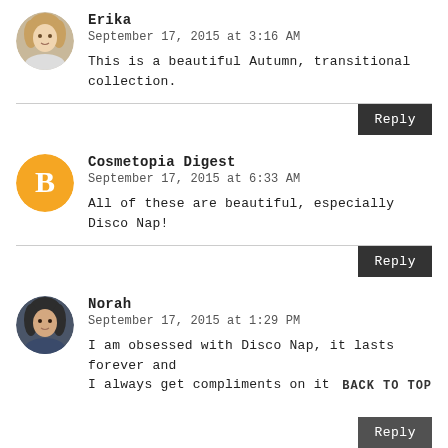[Figure (photo): Avatar photo of Erika, a woman with blonde hair]
Erika
September 17, 2015 at 3:16 AM
This is a beautiful Autumn, transitional collection.
Reply
[Figure (logo): Blogger orange circle logo with B icon]
Cosmetopia Digest
September 17, 2015 at 6:33 AM
All of these are beautiful, especially Disco Nap!
Reply
[Figure (photo): Avatar photo of Norah, a woman with dark hair]
Norah
September 17, 2015 at 1:29 PM
I am obsessed with Disco Nap, it lasts forever and I always get compliments on it
BACK TO TOP